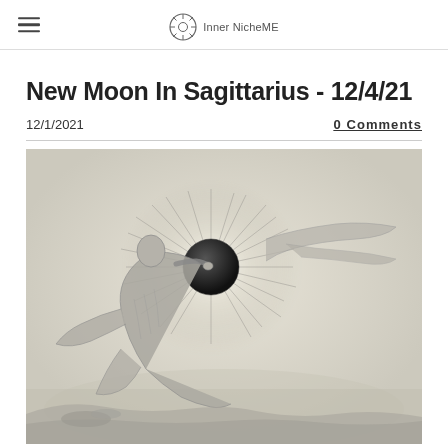Inner NicheME
New Moon In Sagittarius - 12/4/21
12/1/2021
0 Comments
[Figure (illustration): A black and white engraving or drawing of a robed figure reaching toward a glowing sphere (solar eclipse or new moon) with radiating light rays around it, set against a misty landscape background.]